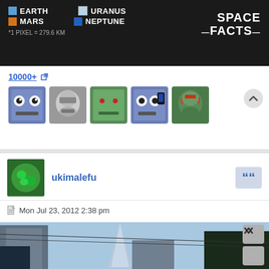[Figure (infographic): Space facts banner showing planet legend: Earth (blue box), Mars (orange box), Uranus (light blue box), Neptune (dark blue box). Text '*1 PIXEL = 279.6 KM' and 'SPACE -FACTS-' branding on black background.]
10000+
[Figure (illustration): Row of 5 cartoon face/helmet emoji icons in pixel art style]
ukimalefu
Mon Jul 23, 2012 2:38 pm
[Figure (photo): Street-level photo looking up at the Transamerica Pyramid building in San Francisco, with utility wires, tall buildings, and trees visible against a blue sky.]